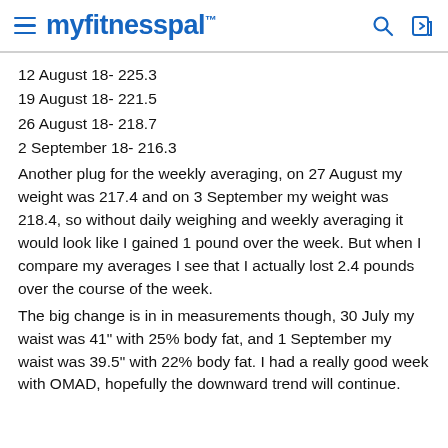myfitnesspal
12 August 18- 225.3
19 August 18- 221.5
26 August 18- 218.7
2 September 18- 216.3
Another plug for the weekly averaging, on 27 August my weight was 217.4 and on 3 September my weight was 218.4, so without daily weighing and weekly averaging it would look like I gained 1 pound over the week. But when I compare my averages I see that I actually lost 2.4 pounds over the course of the week.
The big change is in in measurements though, 30 July my waist was 41" with 25% body fat, and 1 September my waist was 39.5" with 22% body fat. I had a really good week with OMAD, hopefully the downward trend will continue.